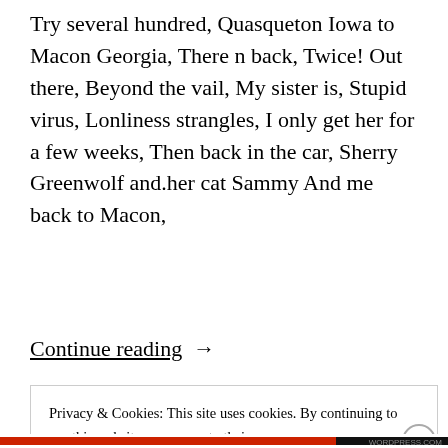Try several hundred, Quasqueton Iowa to Macon Georgia, There n back, Twice! Out there, Beyond the vail, My sister is, Stupid virus, Lonliness strangles, I only get her for a few weeks, Then back in the car, Sherry Greenwolf and.her cat Sammy And me back to Macon,
Continue reading  →
Privacy & Cookies: This site uses cookies. By continuing to use this website, you agree to their use.
To find out more, including how to control cookies, see here: Cookie Policy
Close and accept